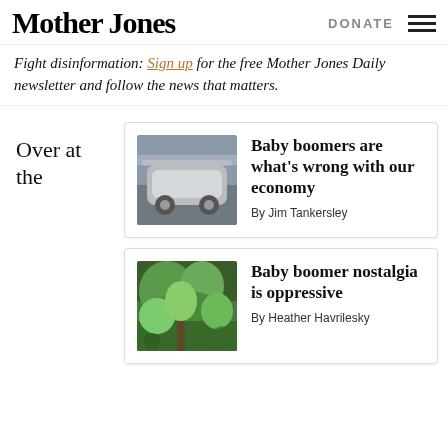Mother Jones | DONATE
Fight disinformation: Sign up for the free Mother Jones Daily newsletter and follow the news that matters.
Over at the
[Figure (photo): Thumbnail image of a white car in snowy/icy conditions]
Baby boomers are what's wrong with our economy
By Jim Tankersley
[Figure (photo): Thumbnail image of a garden or forest scene with green foliage]
Baby boomer nostalgia is oppressive
By Heather Havrilesky